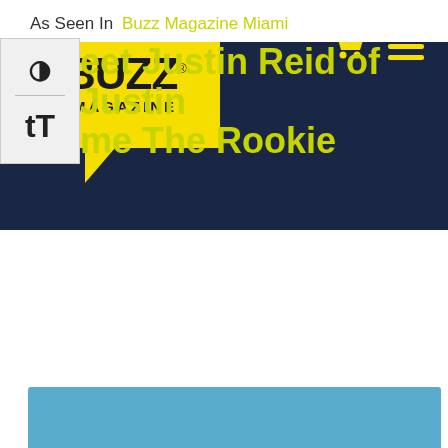[Figure (logo): Buzz Magazine logo — yellow speech bubble with black bold text BUZZ and MAGAZINE below, with registered trademark symbol]
[Figure (other): Shopping cart icon in yellow and hamburger menu icon in yellow on dark navy background]
As Seen In  Buzz Magazine Miami
[Figure (other): Accessibility widget sidebar with contrast toggle and text size toggle icons]
Meet Justin Reid of Justin Came The Rookie
[Figure (photo): Young Black man wearing a bright yellow-green hoodie, holding a microphone, standing against a blue brick wall]